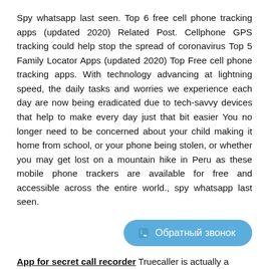Spy whatsapp last seen. Top 6 free cell phone tracking apps (updated 2020) Related Post. Cellphone GPS tracking could help stop the spread of coronavirus Top 5 Family Locator Apps (updated 2020) Top Free cell phone tracking apps. With technology advancing at lightning speed, the daily tasks and worries we experience each day are now being eradicated due to tech-savvy devices that help to make every day just that bit easier You no longer need to be concerned about your child making it home from school, or your phone being stolen, or whether you may get lost on a mountain hike in Peru as these mobile phone trackers are available for free and accessible across the entire world., spy whatsapp last seen.
[Figure (other): Blue rounded button with phone icon and Russian text 'Обратный звонок' (callback)]
App for secret call recorder Truecaller is actually a caller ID application, but it also offers call recordings with the